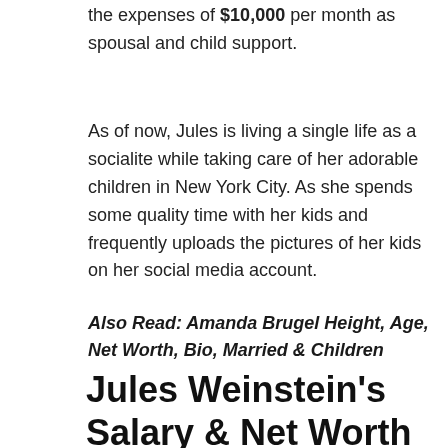the expenses of $10,000 per month as spousal and child support.
As of now, Jules is living a single life as a socialite while taking care of her adorable children in New York City. As she spends some quality time with her kids and frequently uploads the pictures of her kids on her social media account.
Also Read: Amanda Brugel Height, Age, Net Worth, Bio, Married & Children
Jules Weinstein's Salary & Net Worth